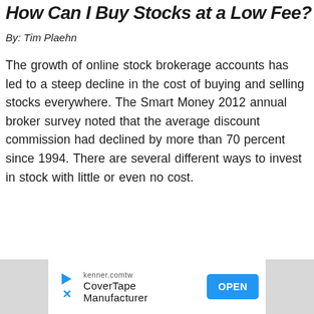How Can I Buy Stocks at a Low Fee?
By: Tim Plaehn
The growth of online stock brokerage accounts has led to a steep decline in the cost of buying and selling stocks everywhere. The Smart Money 2012 annual broker survey noted that the average discount commission had declined by more than 70 percent since 1994. There are several different ways to invest in stock with little or even no cost.
[Figure (other): Advertisement banner for kenner.comtw CoverTape Manufacturer with OPEN button]